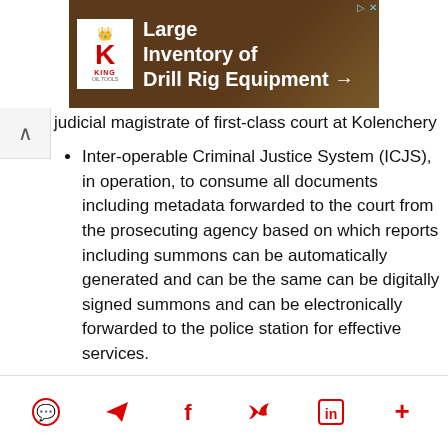[Figure (other): Advertisement banner for King Oil Tools: 'Large Inventory of Drill Rig Equipment →' with King Oil Tools logo on brown/earthy background]
judicial magistrate of first-class court at Kolenchery
Inter-operable Criminal Justice System (ICJS), in operation, to consume all documents including metadata forwarded to the court from the prosecuting agency based on which reports including summons can be automatically generated and can be the same can be digitally signed summons and can be electronically forwarded to the police station for effective services.
The entire filing in smart courts is done using E filing service 2.0